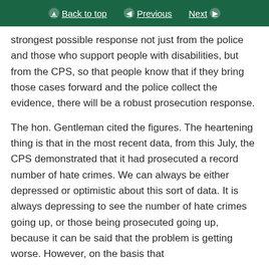Back to top | Previous | Next
strongest possible response not just from the police and those who support people with disabilities, but from the CPS, so that people know that if they bring those cases forward and the police collect the evidence, there will be a robust prosecution response.
The hon. Gentleman cited the figures. The heartening thing is that in the most recent data, from this July, the CPS demonstrated that it had prosecuted a record number of hate crimes. We can always be either depressed or optimistic about this sort of data. It is always depressing to see the number of hate crimes going up, or those being prosecuted going up, because it can be said that the problem is getting worse. However, on the basis that